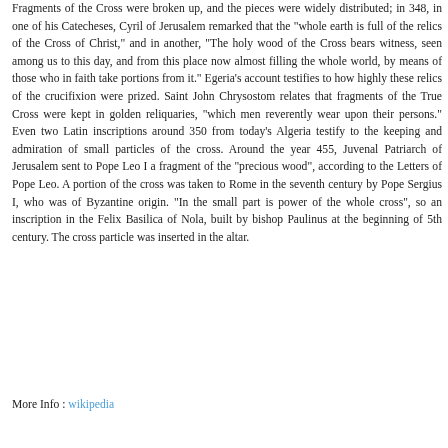Fragments of the Cross were broken up, and the pieces were widely distributed; in 348, in one of his Catecheses, Cyril of Jerusalem remarked that the "whole earth is full of the relics of the Cross of Christ," and in another, "The holy wood of the Cross bears witness, seen among us to this day, and from this place now almost filling the whole world, by means of those who in faith take portions from it." Egeria's account testifies to how highly these relics of the crucifixion were prized. Saint John Chrysostom relates that fragments of the True Cross were kept in golden reliquaries, "which men reverently wear upon their persons." Even two Latin inscriptions around 350 from today's Algeria testify to the keeping and admiration of small particles of the cross. Around the year 455, Juvenal Patriarch of Jerusalem sent to Pope Leo I a fragment of the "precious wood", according to the Letters of Pope Leo. A portion of the cross was taken to Rome in the seventh century by Pope Sergius I, who was of Byzantine origin. "In the small part is power of the whole cross", so an inscription in the Felix Basilica of Nola, built by bishop Paulinus at the beginning of 5th century. The cross particle was inserted in the altar.
More Info : wikipedia